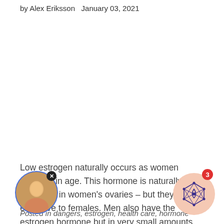by Alex Eriksson  January 03, 2021
Low estrogen naturally occurs as women advance in age. This hormone is naturally produced in women's ovaries – but they're not exclusive to females. Men also have the estrogen hormone but in very small amounts, not enough to impact their bodies.
Posted in dangers, estrogen, health care, hormone